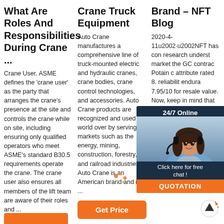What Are Roles And Responsibilities During Crane ...
Crane User. ASME defines the 'crane user' as the party that arranges the crane's presence at the site and controls the crane while on site, including ensuring only qualified operators who meet ASME's standard B30.5 requirements operate the crane. The crane user also ensures all members of the lift team are aware of their roles and ...
Crane Truck Equipment
Auto Crane manufactures a comprehensive line of truck-mounted electric and hydraulic cranes, crane bodies, crane control technologies, and accessories. Auto Crane products are recognized and used the world over by serving markets such as the energy, mining, construction, forestry, and railroad industries. Auto Crane is an American brand and is ...
Brand – NFT Blog
2020-4-11u2002·u2002NFT has con research underst market the GC contrac Potain c attribute rated 8. reliabilit endura 7.95/10 for resale value. Now, keep in mind that this is the score as per how customers perceive the Potain bra...
[Figure (photo): 24/7 Online chat widget with a woman wearing a headset, with 'Click here for free chat!' and an orange QUOTATION button]
[Figure (other): Scroll-to-top arrow button circle icon at bottom right]
[Figure (other): Decorative spark/flame icon near bottom of third column]